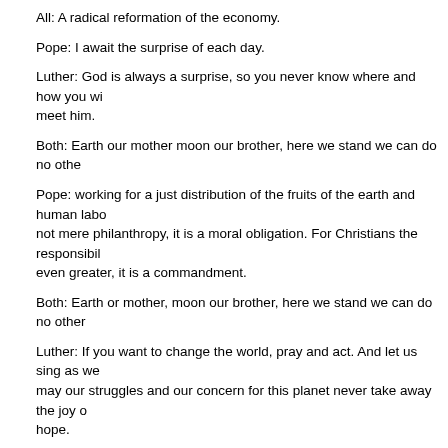All: A radical reformation of the economy.
Pope: I await the surprise of each day.
Luther: God is always a surprise, so you never know where and how you will meet him.
Both: Earth our mother moon our brother, here we stand we can do no other.
Pope: working for a just distribution of the fruits of the earth and human labor is not mere philanthropy, it is a moral obligation. For Christians the responsibility is even greater, it is a commandment.
Both: Earth or mother, moon our brother, here we stand we can do no other.
Luther: If you want to change the world, pray and act. And let us sing as we go. may our struggles and our concern for this planet never take away the joy of hope.
Money: But money always rules.
Pope: takes hat. No it does not. Men and women will not be sacrificed to the god of profit and consumption. Money has to serve and not rule.
All: Money has to serve and not rule.
Pope and Luther: what do we want?
All: a radical reformation of the economy.